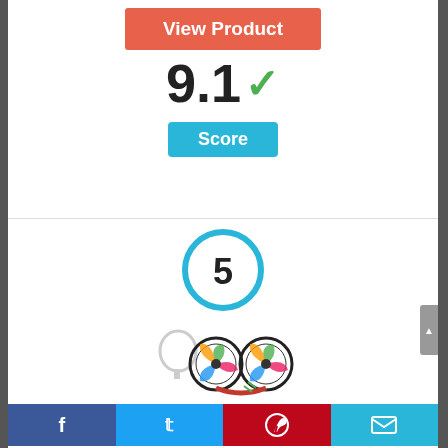[Figure (screenshot): View Product button in coral/red color]
9.1 ✓
Score
[Figure (infographic): Rank circle with number 5]
[Figure (photo): Product photo of a neck fan with LED lights]
Facebook | Twitter | Pinterest | Email social share bar